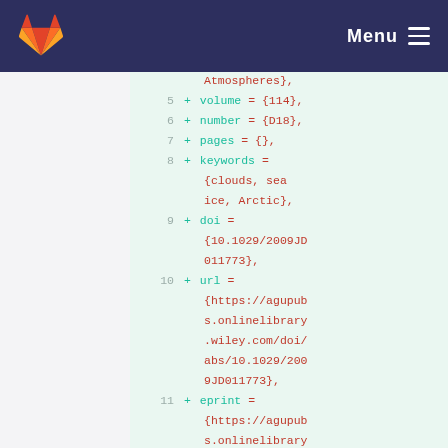Menu
Code diff showing BibTeX fields: Atmospheres}, volume = {114}, number = {D18}, pages = {}, keywords = {clouds, sea ice, Arctic}, doi = {10.1029/2009JD011773}, url = {https://agupubs.onlinelibrary.wiley.com/doi/abs/10.1029/2009JD011773}, eprint = {https://agupubs.onlinelibrary.wiley.com/doi/